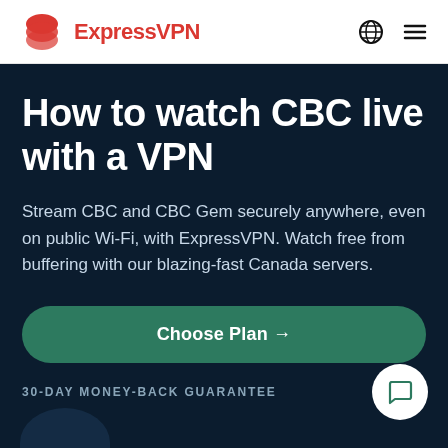ExpressVPN
How to watch CBC live with a VPN
Stream CBC and CBC Gem securely anywhere, even on public Wi-Fi, with ExpressVPN. Watch free from buffering with our blazing-fast Canada servers.
Choose Plan →
30-DAY MONEY-BACK GUARANTEE